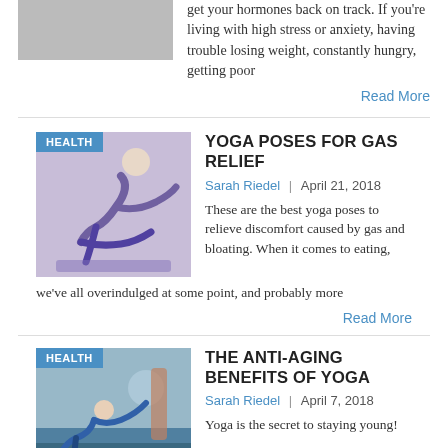[Figure (photo): Partial image of a person (top cropped), health article thumbnail]
get your hormones back on track. If you're living with high stress or anxiety, having trouble losing weight, constantly hungry, getting poor
Read More
[Figure (photo): Woman in purple yoga outfit doing a seated twist yoga pose on a purple mat]
YOGA POSES FOR GAS RELIEF
Sarah Riedel  |  April 21, 2018
These are the best yoga poses to relieve discomfort caused by gas and bloating. When it comes to eating, we've all overindulged at some point, and probably more
Read More
[Figure (photo): Person doing a yoga lunge pose outdoors near water with a lighthouse in the background]
THE ANTI-AGING BENEFITS OF YOGA
Sarah Riedel  |  April 7, 2018
Yoga is the secret to staying young!